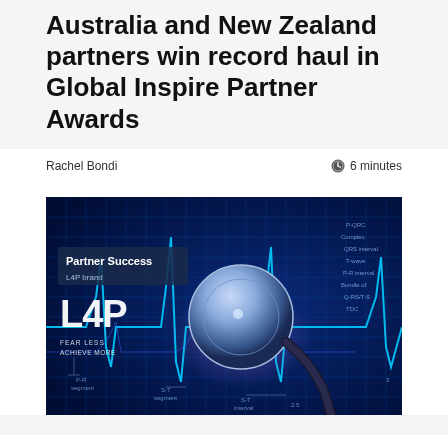Australia and New Zealand partners win record haul in Global Inspire Partner Awards
Rachel Bondi
6 minutes
[Figure (photo): A glowing blue medical/health tech image showing a stethoscope on top of a digital ECG/EKG heartbeat monitor display with a neon blue grid background. Overlaid in the top-left corner is a dark semi-transparent box with white text reading 'Partner Success' and below it a large stylized white 'L4P' logo with smaller text reading 'FEAR LESS ACHIEVE MORE'.]